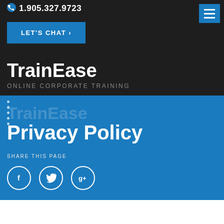1.905.327.9723
LET'S CHAT ›
TrainEase
ONLINE CORPORATE TRAINING
Privacy Policy
SHARE THIS PAGE
[Figure (illustration): Three social media icon circles: Facebook (f), Twitter (bird), Google+ (g+)]